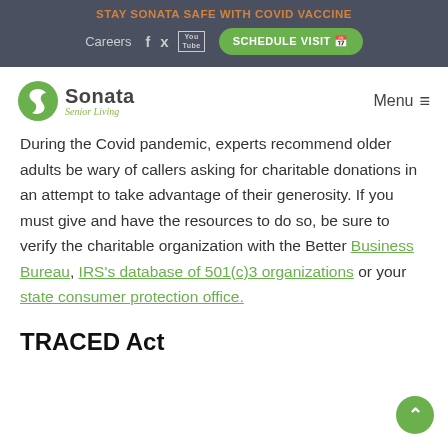STAY SONATA SAFE WITH COVID VACCINE
During the Covid pandemic, experts recommend older adults be wary of callers asking for charitable donations in an attempt to take advantage of their generosity. If you must give and have the resources to do so, be sure to verify the charitable organization with the Better Business Bureau, IRS's database of 501(c)3 organizations or your state consumer protection office.
TRACED Act